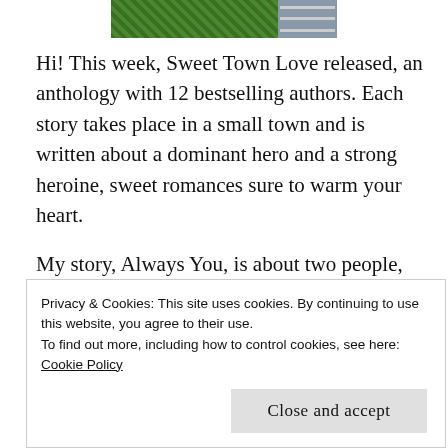[Figure (photo): Partial photo showing green trees/foliage and a structure with railings, cropped at top of page]
Hi! This week, Sweet Town Love released, an anthology with 12 bestselling authors. Each story takes place in a small town and is written about a dominant hero and a strong heroine, sweet romances sure to warm your heart.
My story, Always You, is about two people, suddenly going through life changes, who decide to move back to their hometown at the same time. Their paths cross and, even though they knew each other in school
Privacy & Cookies: This site uses cookies. By continuing to use this website, you agree to their use.
To find out more, including how to control cookies, see here:
Cookie Policy
Close and accept